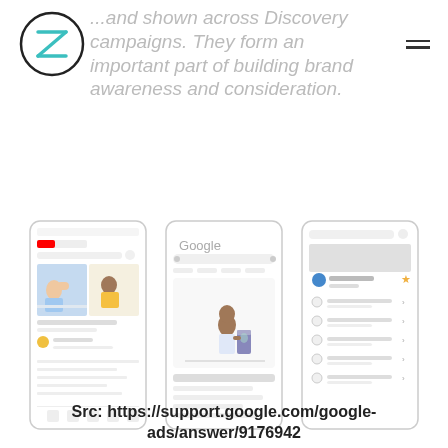...and shown across Discovery campaigns. They form an important part of building brand awareness and consideration.
[Figure (screenshot): Three mobile phone mockups showing Google ads placements: YouTube feed, Google search with Discovery ad, and a Google app listing/feed.]
Src: https://support.google.com/google-ads/answer/9176942